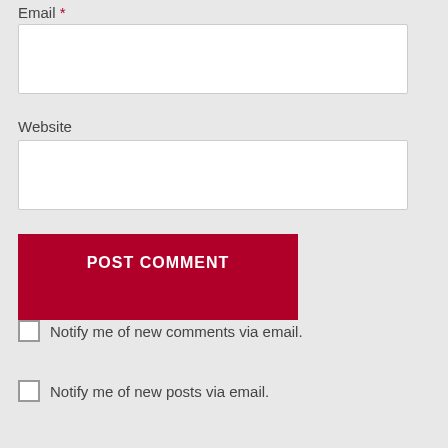Email *
[Figure (screenshot): Empty text input box for Email field]
Website
[Figure (screenshot): Empty text input box for Website field]
POST COMMENT
Notify me of new comments via email.
Notify me of new posts via email.